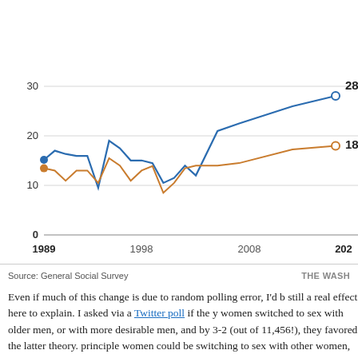[Figure (line-chart): ]
Source: General Social Survey
Even if much of this change is due to random polling error, I'd b still a real effect here to explain. I asked via a Twitter poll if the y women switched to sex with older men, or with more desirable men, and by 3-2 (out of 11,456!), they favored the latter theory. principle women could be switching to sex with other women, b that's not the biggest effect here.